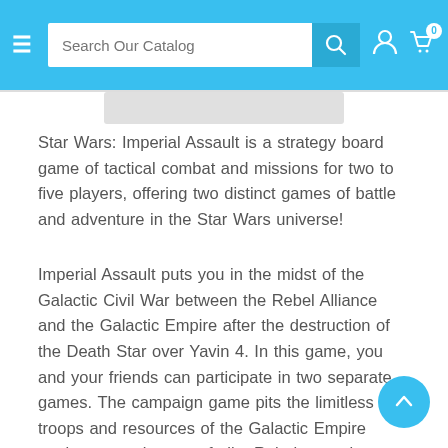Search Our Catalog
Star Wars: Imperial Assault is a strategy board game of tactical combat and missions for two to five players, offering two distinct games of battle and adventure in the Star Wars universe!
Imperial Assault puts you in the midst of the Galactic Civil War between the Rebel Alliance and the Galactic Empire after the destruction of the Death Star over Yavin 4. In this game, you and your friends can participate in two separate games. The campaign game pits the limitless troops and resources of the Galactic Empire against a crack team of elite Rebel operatives as they strive to break the Empire's hold on the